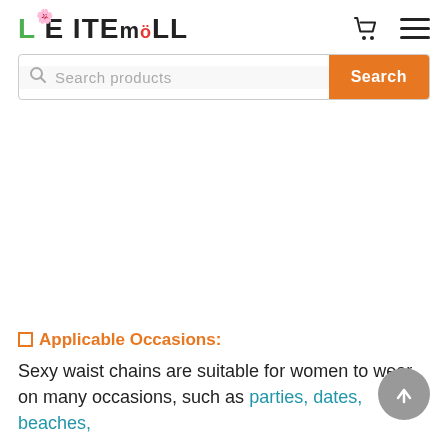[Figure (logo): LeiteMoll e-commerce logo with stylized green L and red/green flower decoration]
[Figure (screenshot): Search bar with placeholder text 'Search products' and orange Search button]
□ Applicable Occasions:
Sexy waist chains are suitable for women to wear on many occasions, such as parties, dates, beaches,